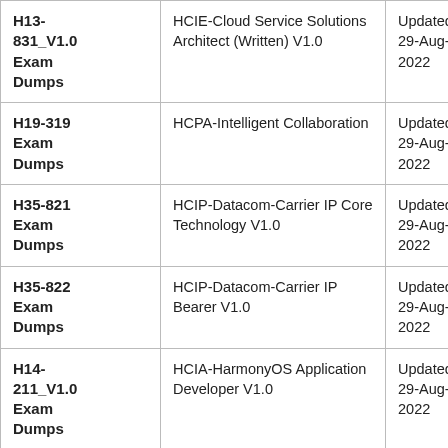| H13-831_V1.0 Exam Dumps | HCIE-Cloud Service Solutions Architect (Written) V1.0 | Updated: 29-Aug-2022 |
| H19-319 Exam Dumps | HCPA-Intelligent Collaboration | Updated: 29-Aug-2022 |
| H35-821 Exam Dumps | HCIP-Datacom-Carrier IP Core Technology V1.0 | Updated: 29-Aug-2022 |
| H35-822 Exam Dumps | HCIP-Datacom-Carrier IP Bearer V1.0 | Updated: 29-Aug-2022 |
| H14-211_V1.0 Exam Dumps | HCIA-HarmonyOS Application Developer V1.0 | Updated: 29-Aug-2022 |
| H14- |  |  |